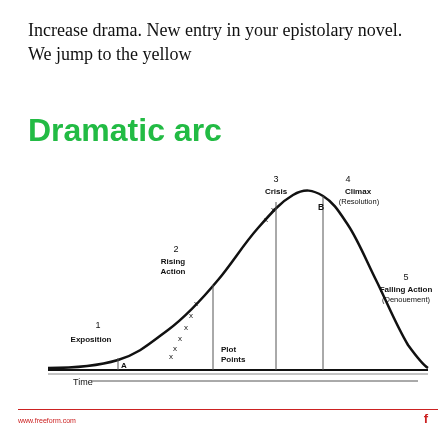Increase drama. New entry in your epistolary novel. We jump to the yellow
Dramatic arc
[Figure (continuous-plot): Dramatic arc diagram showing a bell-curve shaped plot with labeled stages: 1 Exposition (A), 2 Rising Action (with X plot points), 3 Crisis (X, B marker), 4 Climax/Resolution (B), 5 Falling Action (Denouement). Vertical lines mark key transitions. X-axis labeled 'Time'.]
www.freeform.com f